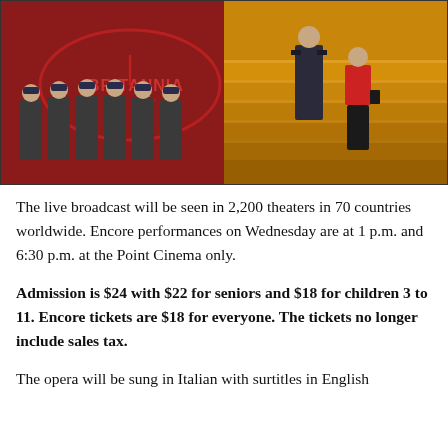[Figure (photo): A theatrical opera production scene split in two: left half shows six performers in dark military uniforms with blue caps standing in a row against a red background with 'BRITANNIA' text and a clock/compass motif; right half shows a man in military uniform and a woman in a red blazer and black skirt standing on golden stairs.]
The live broadcast will be seen in 2,200 theaters in 70 countries worldwide. Encore performances on Wednesday are at 1 p.m. and 6:30 p.m. at the Point Cinema only.
Admission is $24 with $22 for seniors and $18 for children 3 to 11. Encore tickets are $18 for everyone. The tickets no longer include sales tax.
The opera will be sung in Italian with surtitles in English